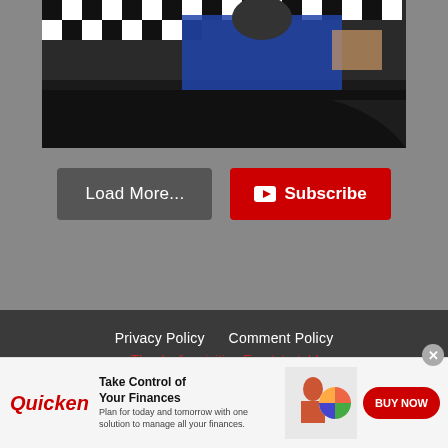[Figure (photo): Screenshot of a NASCAR press conference video thumbnail — a person in a blue racing suit at a table with a checkered pattern backdrop]
Load More...
Subscribe
Privacy Policy   Comment Policy
Thanks for visiting Frontstretch!
© 2022 Frontstretch.com LLC
[Figure (screenshot): Quicken advertisement banner: Take Control of Your Finances — Plan for today and tomorrow with one solution to manage all your finances. BUY NOW button.]